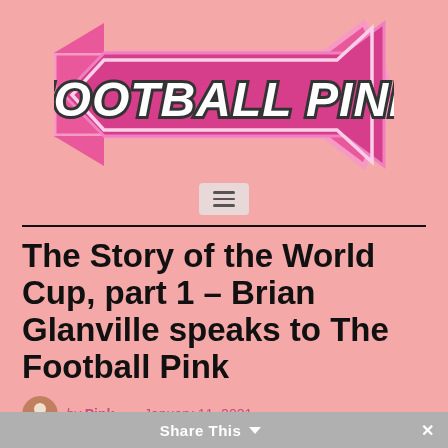[Figure (logo): Football Pink logo — double-headed pink arrow with bold italic 'FOOTBALL PINK' text in white with dark outline, on a pink background]
[Figure (other): Hamburger menu icon (three horizontal lines) inside a light pink/grey rounded rectangle]
The Story of the World Cup, part 1 – Brian Glanville speaks to The Football Pink
by Pink — January 11, 2021
Share This ∨  ×